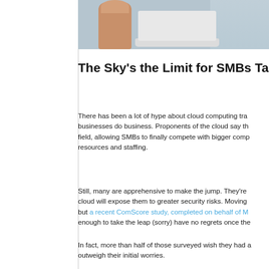[Figure (photo): Partial photo showing a hand/thumb holding a laptop, cropped at top of page]
The Sky’s the Limit for SMBs Taking t
There has been a lot of hype about cloud computing transforming the way businesses do business. Proponents of the cloud say the cloud levels the field, allowing SMBs to finally compete with bigger companies without huge resources and staffing.
Still, many are apprehensive to make the jump. They’re worried that moving to the cloud will expose them to greater security risks. Moving to the cloud is a big step, but a recent ComScore study, completed on behalf of M... enough to take the leap (sorry) have no regrets once the...
In fact, more than half of those surveyed wish they had a... outweigh their initial worries.